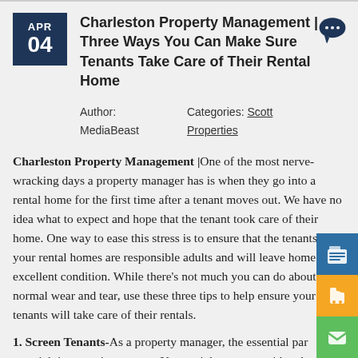APR 04
Charleston Property Management | Three Ways You Can Make Sure Tenants Take Care of Their Rental Home
Author: MediaBeast    Categories: Scott Properties
Charleston Property Management |One of the most nerve-wracking days a property manager has is when they go into a rental home for the first time after a tenant moves out. We have no idea what to expect and hope that the tenant took care of their home. One way to ease this stress is to ensure that the tenants in your rental homes are responsible adults and will leave home is an excellent condition. While there's not much you can do about normal wear and tear, use these three tips to help ensure your tenants will take care of their rentals.
1. Screen Tenants-As a property manager, the essential part of your job is screening tenants. You can't let anyone with a deposit move into a home. You need to make every potential tenant fi...